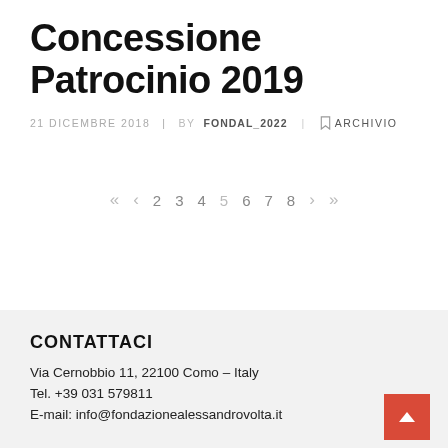Concessione Patrocinio 2019
21 DICEMBRE 2018  BY FONDAL_2022  ARCHIVIO
« < 2 3 4 5 6 7 8 > »
CONTATTACI
Via Cernobbio 11, 22100 Como – Italy
Tel. +39 031 579811
E-mail: info@fondazionealessandrovolta.it